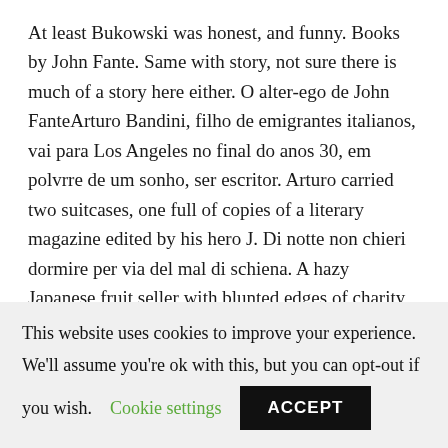At least Bukowski was honest, and funny. Books by John Fante. Same with story, not sure there is much of a story here either. O alter-ego de John FanteArturo Bandini, filho de emigrantes italianos, vai para Los Angeles no final do anos 30, em polvrre de um sonho, ser escritor. Arturo carried two suitcases, one full of copies of a literary magazine edited by his hero J. Di notte non chieri dormire per via del mal di schiena. A hazy Japanese fruit seller with blunted edges of charity, waiting on him in unreality.
This website uses cookies to improve your experience. We'll assume you're ok with this, but you can opt-out if you wish. Cookie settings ACCEPT